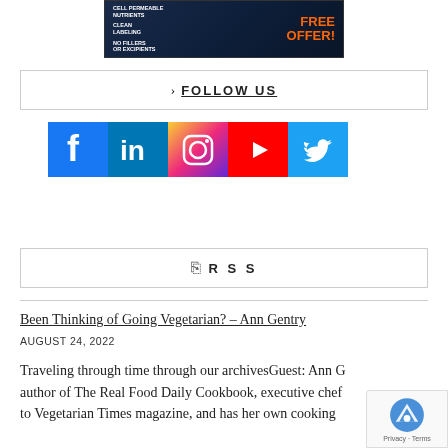[Figure (photo): Advertisement banner with dark blue background showing a human head profile, orange text 'FREE OFFER!' and white text tags: CELL PERMEABLE NUTRIENTS, CLEAN LABELING, NO FILLERS OR EXCIPIENTS]
> FOLLOW US
[Figure (infographic): Row of five social media icons: Facebook (blue), LinkedIn (blue), Instagram (gradient), YouTube (red), Twitter (light blue)]
RSS
Been Thinking of Going Vegetarian? – Ann Gentry
AUGUST 24, 2022
Traveling through time through our archivesGuest: Ann G author of The Real Food Daily Cookbook, executive chef to Vegetarian Times magazine, and has her own cooking